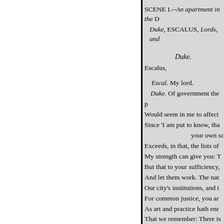SCENE I.--An apartment in the D
Duke, ESCALUS, Lords, and Att
Duke.
Escalus,
Escal. My lord.
Duke. Of government the p
Would seem in me to affect
Since 'I am put to know, tha
your own sc
Exceeds, in that, the lists of
My strength can give you: T
But that to your sufficiency,
And let them work. The nat
Our city's institutions, and t
For common justice, you ar
As art and practice hath enr
That we remember: There is
From which we would not k
I say, bid come before us A